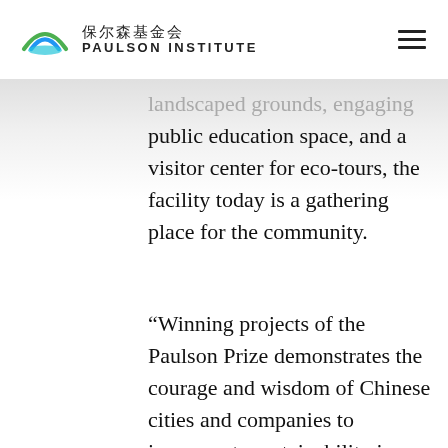保尔森基金会 PAULSON INSTITUTE
landscaped grounds, engaging public education space, and a visitor center for eco-tours, the facility today is a gathering place for the community.
“Winning projects of the Paulson Prize demonstrates the courage and wisdom of Chinese cities and companies to incorporate sustainability in business with innovative ideas,